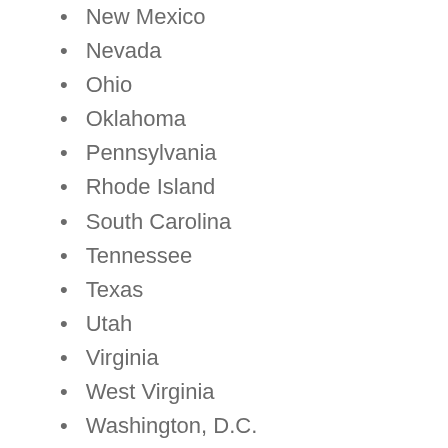New Mexico
Nevada
Ohio
Oklahoma
Pennsylvania
Rhode Island
South Carolina
Tennessee
Texas
Utah
Virginia
West Virginia
Washington, D.C.
VA Loan Pest Inspection Sometimes Required in